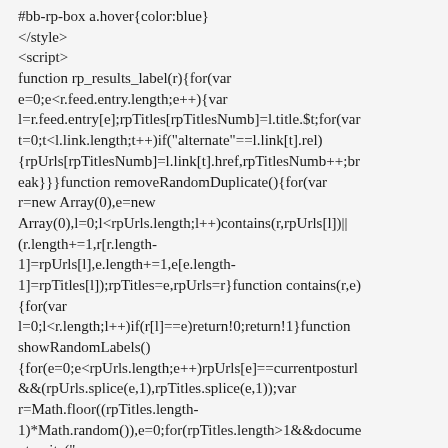#bb-rp-box a.hover{color:blue}
</style>
<script>
function rp_results_label(r){for(var e=0;e<r.feed.entry.length;e++){var l=r.feed.entry[e];rpTitles[rpTitlesNumb]=l.title.$t;for(var t=0;t<l.link.length;t++)if("alternate"==l.link[t].rel){rpUrls[rpTitlesNumb]=l.link[t].href,rpTitlesNumb++;break}}}function removeRandomDuplicate(){for(var r=new Array(0),e=new Array(0),l=0;l<rpUrls.length;l++)contains(r,rpUrls[l])||(r.length+=1,r[r.length-1]=rpUrls[l],e.length+=1,e[e.length-1]=rpTitles[l]);rpTitles=e,rpUrls=r}function contains(r,e){for(var l=0;l<r.length;l++)if(r[l]==e)return!0;return!1}function showRandomLabels(){for(e=0;e<rpUrls.length;e++)rpUrls[e]==currentposturl&&(rpUrls.splice(e,1),rpTitles.splice(e,1));var r=Math.floor((rpTitles.length-1)*Math.random()),e=0;for(rpTitles.length>1&&document.write("<ul>");e<rpTitles.length&&e<20&&e<maxresults;)document.write('<li><a href="'+rpUrls[r]+'">'+rpTitles[r]+"</a></li>"),r<rpTitles.length-1?r++:r=0,e++;document.write("</ul>")}var rpTitles=new Array,rpTitlesNumb=0,rpUrls=new Array;